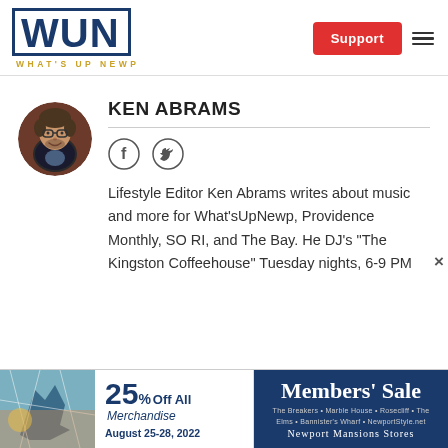WUN WHAT'S UP NEWP | Support
[Figure (photo): Circular author photo of Ken Abrams, a man with glasses and curly hair, wearing a dark jacket]
KEN ABRAMS
[Figure (logo): Facebook and Twitter social media icons]
Lifestyle Editor Ken Abrams writes about music and more for What'sUpNewp, Providence Monthly, SO RI, and The Bay. He DJ's "The Kingston Coffeehouse" Tuesday nights, 6-9 PM
[Figure (infographic): Newport Mansions Stores Members' Sale advertisement banner: 25% Off All Merchandise August 25-28, 2022]